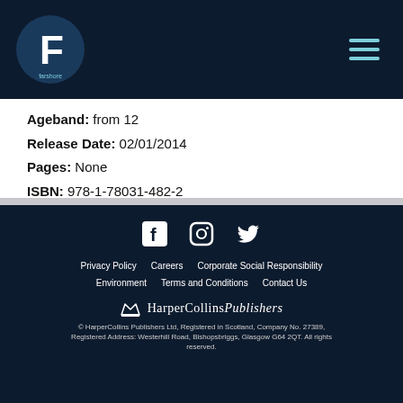Farshore logo and navigation header
Ageband: from 12
Release Date: 02/01/2014
Pages: None
ISBN: 978-1-78031-482-2
Social icons: Facebook, Instagram, Twitter. Links: Privacy Policy, Careers, Corporate Social Responsibility, Environment, Terms and Conditions, Contact Us. HarperCollins Publishers logo. © HarperCollins Publishers Ltd, Registered in Scotland, Company No. 27389, Registered Address: Westerhill Road, Bishopsbriggs, Glasgow G64 2QT. All rights reserved.